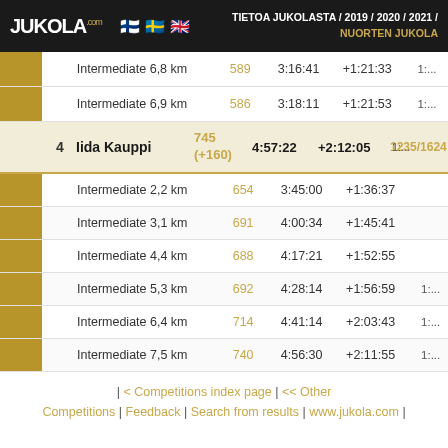JUKOLA.com | TIETOA JUKOLASTA / 2019 / 2020 / 2021 / NUORTEN JUKOLA
|  | Name | Pos | Time | Diff | Rank2 | Pace |
| --- | --- | --- | --- | --- | --- | --- |
|  | Intermediate 6,8 km | 589 | 3:16:41 | +1:21:33 |  | 1:... |
|  | Intermediate 6,9 km | 586 | 3:18:11 | +1:21:53 |  | 1:... |
| 4 | Iida Kauppi | 745 (+160) | 4:57:22 | +2:12:05 | 1235/1624 | 1:... |
|  | Intermediate 2,2 km | 654 | 3:45:00 | +1:36:37 |  |  |
|  | Intermediate 3,1 km | 691 | 4:00:34 | +1:45:41 |  |  |
|  | Intermediate 4,4 km | 688 | 4:17:21 | +1:52:55 |  |  |
|  | Intermediate 5,3 km | 692 | 4:28:14 | +1:56:59 |  | 1:... |
|  | Intermediate 6,4 km | 714 | 4:41:14 | +2:03:43 |  | 1:... |
|  | Intermediate 7,5 km | 740 | 4:56:30 | +2:11:55 |  | 1:... |
| < Competitions index page | << Other Competitions | Feedback | Search from results | www.jukola.com |